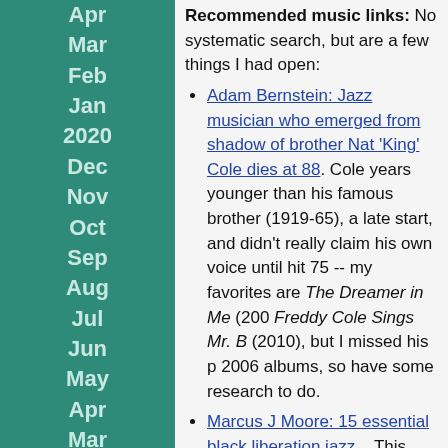Apr Mar Feb Jan 2020 Dec Nov Oct Sep Aug Jul Jun May Apr Mar Feb Jan 2019 Dec Nov Oct Sep Aug Jul Jun
Recommended music links: No systematic search, but are a few things I had open:
Adam Bernstein: Jazz musician who emerged from shadow of brother Nat 'King' Cole dies at 88. Cole years younger than his famous brother (1919-65), a late start, and didn't really claim his own voice until hit 75 -- my favorites are The Dreamer in Me (200 Freddy Cole Sings Mr. B (2010), but I missed his p 2006 albums, so have some research to do.
Marcus J Moore: 15 essential black liberation jazz... This reminded me to check out one of the Hal Sing records below.
Hank Shteamer: 'He made the world bigger': Inside Zorn's jazz-metal multiverse. Also, this map of Zor recordings.
Songwriter Johnny Mandel (94) also died this week.
New records reviewed this week:
Al Bilali Soudan: Tombouctou (2020, Clermont M [r]: A-
Johnny Beth: To Love Is to Live (2020, Caroline...